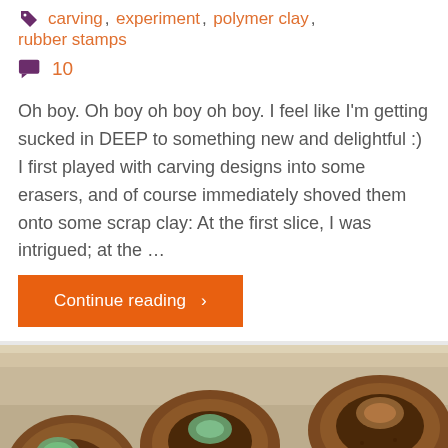carving, experiment, polymer clay, rubber stamps
10
Oh boy. Oh boy oh boy oh boy. I feel like I'm getting sucked in DEEP to something new and delightful :) I first played with carving designs into some erasers, and of course immediately shoved them onto some scrap clay: At the first slice, I was intrigued; at the ...
Continue reading  >
[Figure (photo): Photo of several copper-colored polymer clay medallions/discs with sea glass insets, arranged on a light surface. The pieces have textured surfaces and hold small pieces of green and brown sea glass.]